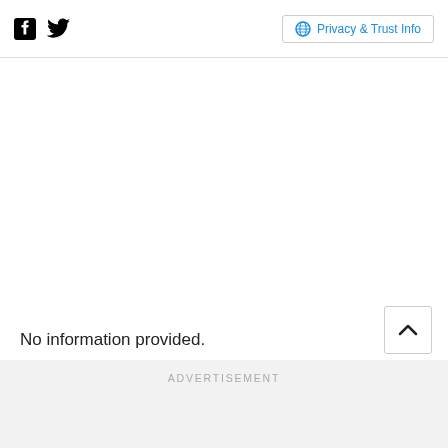Facebook icon, Twitter icon, Privacy & Trust Info
No information provided.
ADVERTISEMENT